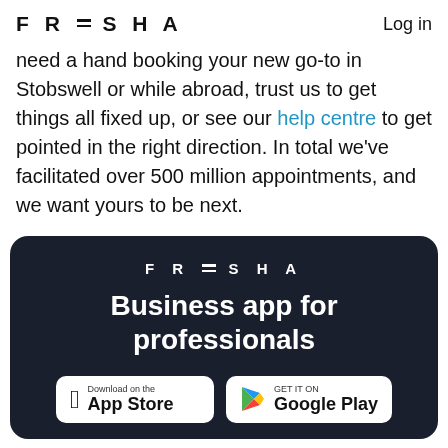FRESHA   Log in
need a hand booking your new go-to in Stobswell or while abroad, trust us to get things all fixed up, or see our help centre to get pointed in the right direction. In total we've facilitated over 500 million appointments, and we want yours to be next.
[Figure (infographic): Dark navy card with Fresha logo, tagline 'Business app for professionals', and two app store download buttons: App Store (Apple) and Google Play]
FRESHA
Business app for professionals
Download on the App Store
GET IT ON Google Play